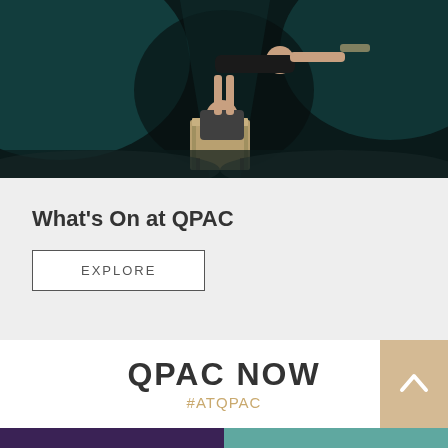[Figure (photo): Two acrobatic performers on stage with dramatic teal lighting. One performer sits on a chair while lifting the other above their head in a horizontal position.]
What’s On at QPAC
EXPLORE
QPAC NOW
#ATQPAC
[Figure (photo): Two partial images at the bottom: left shows a purple-lit performance scene, right shows teal-toned rooftop architectural elements.]